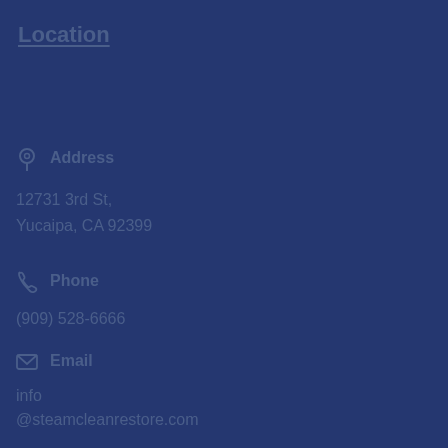Location
Address
12731 3rd St,
Yucaipa, CA 92399
Phone
(909) 528-6666
Email
info
@steamcleanrestore.com
Hours
Monday-Friday
7 am – 7 pm
Saturday & Sunday